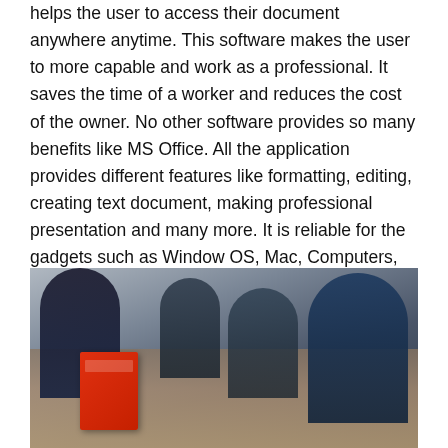helps the user to access their document anywhere anytime. This software makes the user to more capable and work as a professional. It saves the time of a worker and reduces the cost of the owner. No other software provides so many benefits like MS Office. All the application provides different features like formatting, editing, creating text document, making professional presentation and many more. It is reliable for the gadgets such as Window OS, Mac, Computers, and Android Phones. In this article, you will read MS Office 365 helps to improve your productivity.
[Figure (photo): A group of professionals sitting around a table collaborating, with an MS Office 365 box visible in the foreground on the left side of the image.]